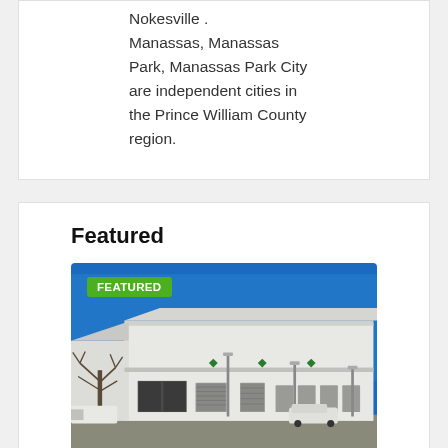Nokesville . Manassas, Manassas Park, Manassas Park City are independent cities in the Prince William County region.
Featured
[Figure (photo): Exterior photo of a large white commercial warehouse/industrial building with a clear blue sky. A green 'FEATURED' badge is overlaid in the top-left corner. Bare trees and parked vehicles visible in foreground.]